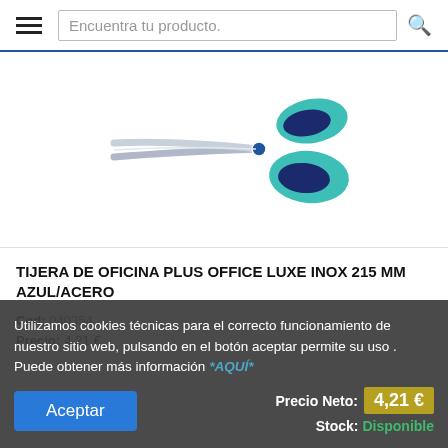Encuentra tu producto.
[Figure (photo): Product photo of blue and teal office scissors (Tijera de Oficina Plus Office Luxe Inox 215 mm Azul/Acero) on white background]
TIJERA DE OFICINA PLUS OFFICE LUXE INOX 215 MM AZUL/ACERO
Cod: 040354
Precio: 4,21 €
Utilizamos cookies técnicas para el correcto funcionamiento de nuestro sitio web, pulsando en el botón aceptar permite su uso . Puede obtener más información *AQUÍ*
Precio Neto: 4,21 €
Stock: Disponible